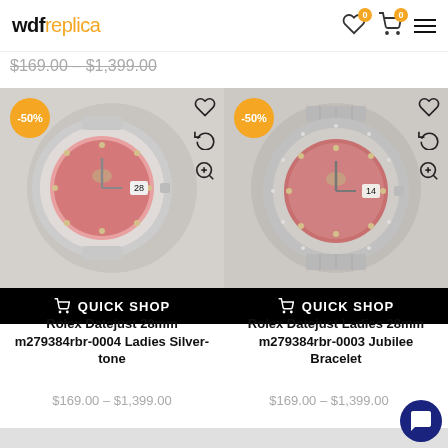wdfreplica
$169.00 – $1,399.00
[Figure (photo): Rolex Datejust 28mm ladies watch with pink diamond dial and silver-tone oyster bracelet, -50% sale badge, quick shop button overlay]
QUICK SHOP
Rolex Datejust 28mm m279384rbr-0004 Ladies Silver-tone
$169.00 – $1,399.00
[Figure (photo): Rolex Datejust Ladies 28mm watch with pink diamond dial and jubilee bracelet, -50% sale badge, quick shop button overlay]
QUICK SHOP
Rolex Datejust Ladies 28mm m279384rbr-0003 Jubilee Bracelet
$169.00 – $1,399.00